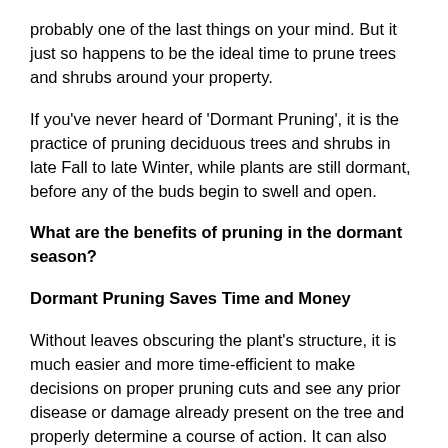probably one of the last things on your mind. But it just so happens to be the ideal time to prune trees and shrubs around your property.
If you've never heard of 'Dormant Pruning', it is the practice of pruning deciduous trees and shrubs in late Fall to late Winter, while plants are still dormant, before any of the buds begin to swell and open.
What are the benefits of pruning in the dormant season?
Dormant Pruning Saves Time and Money
Without leaves obscuring the plant's structure, it is much easier and more time-efficient to make decisions on proper pruning cuts and see any prior disease or damage already present on the tree and properly determine a course of action. It can also help reduce the costs of potentially